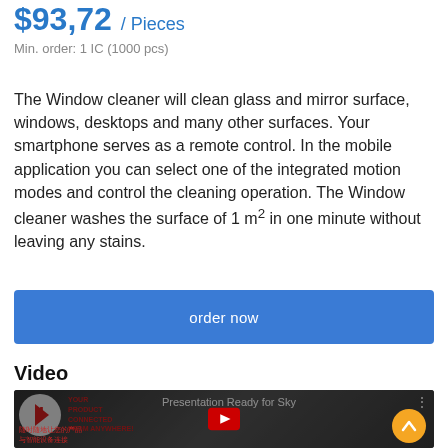$93,72 / Pieces
Min. order: 1 IC (1000 pcs)
The Window cleaner will clean glass and mirror surface, windows, desktops and many other surfaces. Your smartphone serves as a remote control. In the mobile application you can select one of the integrated motion modes and control the cleaning operation. The Window cleaner washes the surface of 1 m² in one minute without leaving any stains.
order now
Video
[Figure (screenshot): Video thumbnail showing a product presentation with logo, text 'YOUR PRODUCT CONNECTED FROM ANYWHERE!', Chinese text, and a YouTube play button overlay. Title reads 'Presentation Ready for Sky'.]